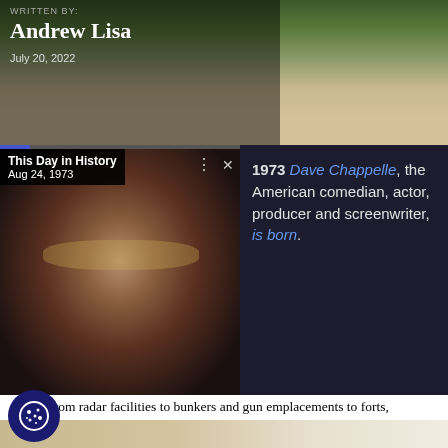WRITTEN BY:
Andrew Lisa
July 20, 2022
[Figure (photo): This Day in History widget showing Dave Chappelle, Aug 24, 1973, with photo of smiling man wearing sunglasses]
1973 Dave Chappelle, the American comedian, actor, producer and screenwriter, is born.
From radar facilities to bunkers and gun emplacements to forts, militaries build infrastructure to further their missions. When their usefulness expires, however, those installations sometimes remain for years, decades, or even centuries, standing as crumbling and dilapidated reminders of years gone by.